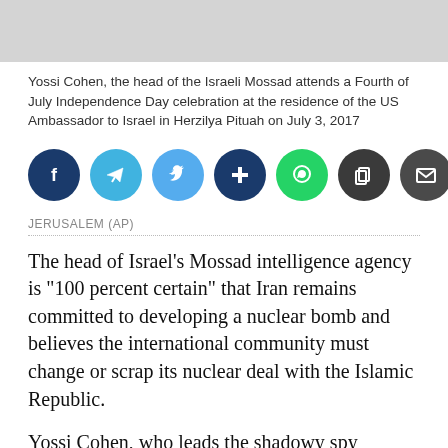[Figure (photo): Gray placeholder image area at top of page]
Yossi Cohen, the head of the Israeli Mossad attends a Fourth of July Independence Day celebration at the residence of the US Ambassador to Israel in Herzilya Pituah on July 3, 2017
[Figure (infographic): Social sharing buttons: Facebook (dark blue), Telegram (light blue), Twitter (light blue), AddThis (dark blue), WhatsApp (green), Copy (dark gray), Email (dark gray)]
JERUSALEM (AP)
The head of Israel's Mossad intelligence agency is "100 percent certain" that Iran remains committed to developing a nuclear bomb and believes the international community must change or scrap its nuclear deal with the Islamic Republic.
Yossi Cohen, who leads the shadowy spy agency, has been holding discussions about the Iranian nuclear program and delivered his assessment in a recent